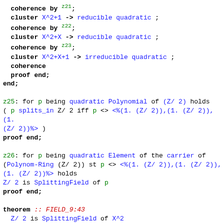coherence by z21;
  cluster X^2+1 -> reducible quadratic ;
  coherence by z22;
  cluster X^2+X -> reducible quadratic ;
  coherence by z23;
  cluster X^2+X+1 -> irreducible quadratic ;
  coherence
  proof end;
end;

z25: for p being quadratic Polynomial of (Z/ 2) holds
( p splits_in Z/ 2 iff p <> <%(1. (Z/ 2)),(1. (Z/ 2)),(1.
(Z/ 2))%> )
proof end;

z26: for p being quadratic Element of the carrier of
(Polynom-Ring (Z/ 2)) st p <> <%(1. (Z/ 2)),(1. (Z/ 2)),
(1. (Z/ 2))%> holds
Z/ 2 is SplittingField of p
proof end;

theorem :: FIELD_9:43
  Z/ 2 is SplittingField of X^2
proof end;

theorem :: FIELD_9:44
  Z/ 2 is SplittingField of X^2+1
proof end;

theorem :: FIELD_9:45